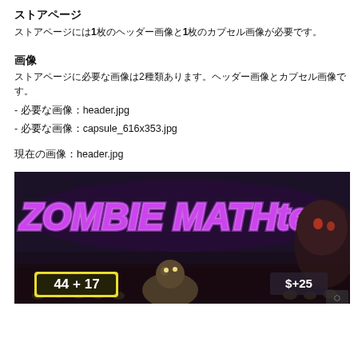ストアページ
ストアページには1枚のヘッダー画像と1枚のカプセル画像が必要です。
画像
ストアページに必要な画像は2種類あります。ヘッダー画像とカプセル画像です。
-　必要な画像：header.jpg
-　必要な画像：capsule_616x353.jpg
現在の画像：header.jpg
[Figure (screenshot): Screenshot of Zombie MATHters game showing the title in purple glowing text with zombie characters and math equation '44 + 17' displayed on screen]